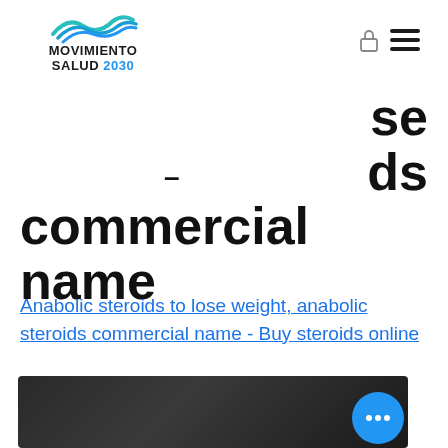[Figure (logo): Movimiento Salud 2030 logo with teal wave graphic above text]
se
ds
commercial name
Anabolic steroids to lose weight, anabolic steroids commercial name - Buy steroids online
[Figure (photo): Dark blurred photo, likely related to steroids or fitness]